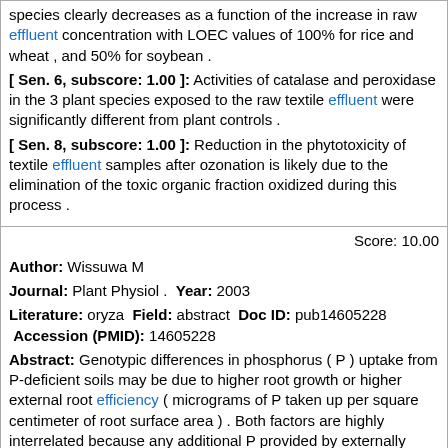species clearly decreases as a function of the increase in raw effluent concentration with LOEC values of 100% for rice and wheat , and 50% for soybean .
[ Sen. 6, subscore: 1.00 ]: Activities of catalase and peroxidase in the 3 plant species exposed to the raw textile effluent were significantly different from plant controls .
[ Sen. 8, subscore: 1.00 ]: Reduction in the phytotoxicity of textile effluent samples after ozonation is likely due to the elimination of the toxic organic fraction oxidized during this process .
Score: 10.00
Author: Wissuwa M
Journal: Plant Physiol . Year: 2003
Literature: oryza Field: abstract Doc ID: pub14605228 Accession (PMID): 14605228
Abstract: Genotypic differences in phosphorus ( P ) uptake from P-deficient soils may be due to higher root growth or higher external root efficiency ( micrograms of P taken up per square centimeter of root surface area ) . Both factors are highly interrelated because any additional P provided by externally efficient roots will also stimulate root growth . It will be necessary to separate both factors to identify a primary mechanism to formulate hypotheses on pathways and genes causing genotypic differences in P uptake . For this purpose , a plant growth model was developed for rice ( Oryza sativa ) grown under highly P-deficient conditions . Model simulations showed that small changes in root growth-related parameters had big effects on P uptake . Increasing root fineness or the internal efficiency for root dry matter production ( dry matter accumulated per unit P distributed to roots ) by 22% was sufficient to increase P uptake by a factor of three . That same effect